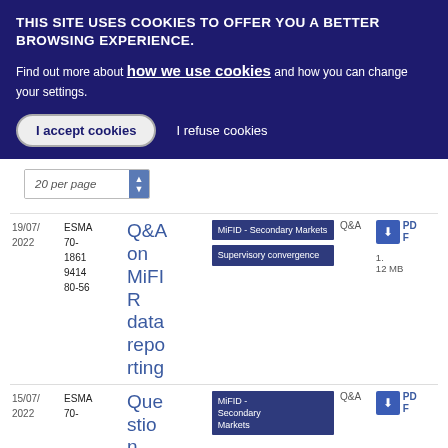THIS SITE USES COOKIES TO OFFER YOU A BETTER BROWSING EXPERIENCE.
Find out more about how we use cookies and how you can change your settings.
I accept cookies   I refuse cookies
20 per page
| Date | Reference | Title | Topics | Type | Download |
| --- | --- | --- | --- | --- | --- |
| 19/07/2022 | ESMA 70-18619414 80-56 | Q&A on MiFIR data reporting | MiFID - Secondary Markets | Supervisory convergence | Q&A | PDF 1.12 MB |
| 15/07/2022 | ESMA 70- | Que stio n... | MiFID - Secondary Markets | Q&A | PDF |